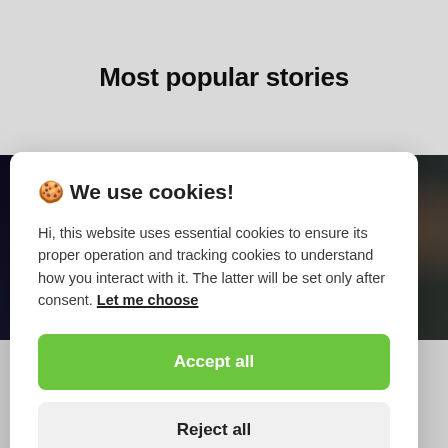Most popular stories
[Figure (photo): Dark blurry background image showing a hand and person, partially obscured, dark tones with green and brown hues]
🍪 We use cookies!
Hi, this website uses essential cookies to ensure its proper operation and tracking cookies to understand how you interact with it. The latter will be set only after consent. Let me choose
Accept all
Reject all